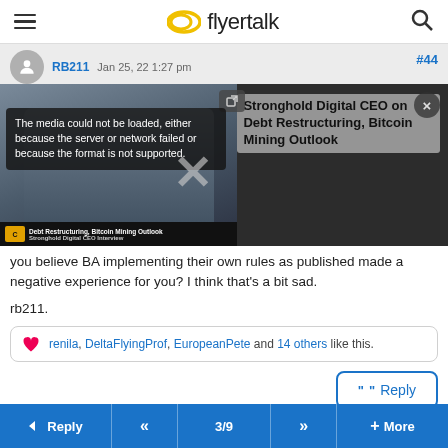flyertalk
#44 RB211  Jan 25, 22 1:27 pm
[Figure (screenshot): Embedded video player showing a CoinDesk interview with Stronghold Digital CEO on Debt Restructuring, Bitcoin Mining Outlook. The media could not be loaded error is shown overlaying the video thumbnail. A large X close button appears over the video.]
you believe BA implementing their own rules as published made a negative experience for you? I think that's a bit sad.

rb211.
renila, DeltaFlyingProf, EuropeanPete and 14 others like this.
Reply
Reply  <<  3/9  >>  + More